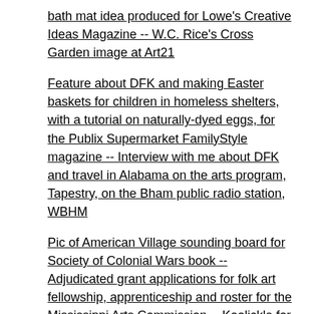bath mat idea produced for Lowe's Creative Ideas Magazine -- W.C. Rice's Cross Garden image at Art21
Feature about DFK and making Easter baskets for children in homeless shelters, with a tutorial on naturally-dyed eggs, for the Publix Supermarket FamilyStyle magazine -- Interview with me about DFK and travel in Alabama on the arts program, Tapestry, on the Bham public radio station, WBHM
Pic of American Village sounding board for Society of Colonial Wars book -- Adjudicated grant applications for folk art fellowship, apprenticeship and roster for the Mississippi Arts Commission -- Koolickle for FoodandWine.com -- Vincent Oliver's Hippodrome for Black & White
Gee's Bend Quilt Mural for Barn Quilts and the American Quilt Trail Movement book -- Koolickle image at the BBC